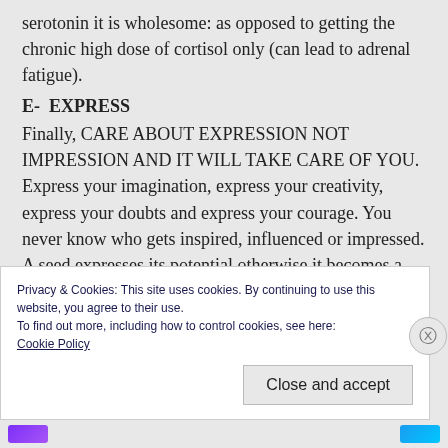serotonin it is wholesome: as opposed to getting the chronic high dose of cortisol only (can lead to adrenal fatigue).
E-  EXPRESS
Finally, CARE ABOUT EXPRESSION NOT IMPRESSION AND IT WILL TAKE CARE OF YOU. Express your imagination, express your creativity, express your doubts and express your courage. You never know who gets inspired, influenced or impressed. A seed expresses its potential otherwise it becomes a
Privacy & Cookies: This site uses cookies. By continuing to use this website, you agree to their use.
To find out more, including how to control cookies, see here:
Cookie Policy
Close and accept